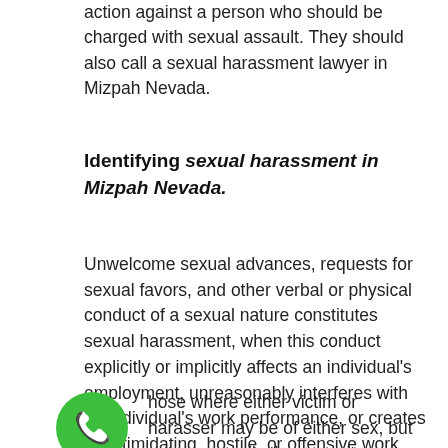action against a person who should be charged with sexual assault. They should also call a sexual harassment lawyer in Mizpah Nevada.
Identifying sexual harassment in Mizpah Nevada.
Unwelcome sexual advances, requests for sexual favors, and other verbal or physical conduct of a sexual nature constitutes sexual harassment, when this conduct explicitly or implicitly affects an individual's employment, unreasonably interferes with an individual's work performance, or creates an intimidating, hostile, or offensive work environment. Sexual harassment is situational and can occur in many circumstances including :
Those where either victim or harasser may be of either sex, but not necessarily the opposite sex.